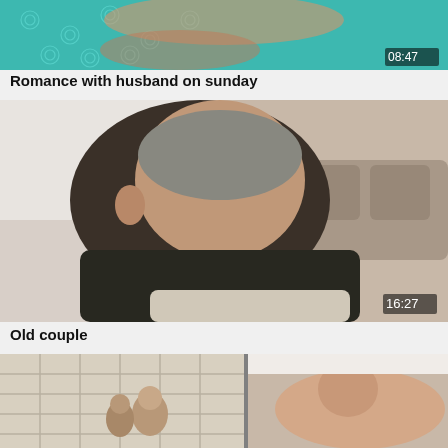[Figure (photo): Video thumbnail showing a woman lying on a teal floral bedsheet, duration 08:47]
Romance with husband on sunday
[Figure (photo): Video thumbnail showing an older man with gray hair bending forward indoors, duration 16:27]
Old couple
[Figure (photo): Video thumbnail split: left side shows two people in a Japanese-style room, right side shows a woman lying down]